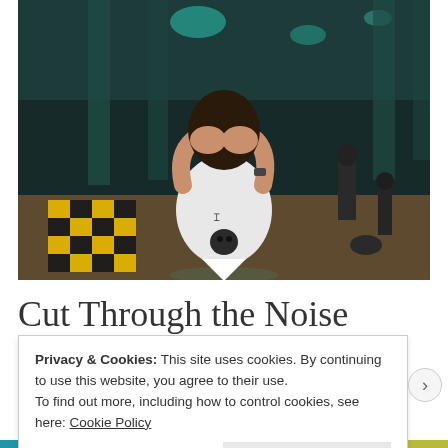[Figure (photo): A person in a white Under Armour t-shirt holding their head in their hands in what appears to be a large indoor space with teal-lit columns and a black-and-yellow checkered floor. Other people are visible in the background.]
Cut Through the Noise
Privacy & Cookies: This site uses cookies. By continuing to use this website, you agree to their use.
To find out more, including how to control cookies, see here: Cookie Policy
Close and accept